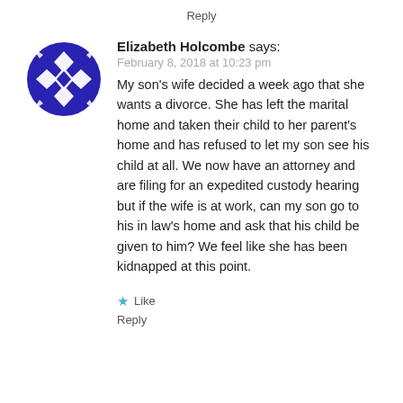Reply
[Figure (logo): Blue circular avatar with diamond/rhombus geometric pattern in white on dark blue background]
Elizabeth Holcombe says:
February 8, 2018 at 10:23 pm
My son’s wife decided a week ago that she wants a divorce. She has left the marital home and taken their child to her parent’s home and has refused to let my son see his child at all. We now have an attorney and are filing for an expedited custody hearing but if the wife is at work, can my son go to his in law’s home and ask that his child be given to him? We feel like she has been kidnapped at this point.
★ Like
Reply